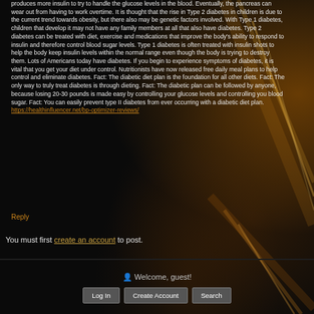produces more insulin to try to handle the glucose levels in the blood. Eventually, the pancreas can wear out from having to work overtime. It is thought that the rise in Type 2 diabetes in children is due to the current trend towards obesity, but there also may be genetic factors involved. With Type 1 diabetes, children that develop it may not have any family members at all that also have diabetes. Type 2 diabetes can be treated with diet, exercise and medications that improve the body's ability to respond to insulin and therefore control blood sugar levels. Type 1 diabetes is often treated with insulin shots to help the body keep insulin levels within the normal range even though the body is trying to destroy them. Lots of Americans today have diabetes. If you begin to experience symptoms of diabetes, it is vital that you get your diet under control. Nutritionists have now released free daily meal plans to help control and eliminate diabetes. Fact: The diabetic diet plan is the foundation for all other diets. Fact: The only way to truly treat diabetes is through dieting. Fact: The diabetic plan can be followed by anyone, because losing 20-30 pounds is made easy by controlling your glucose levels and controlling you blood sugar. Fact: You can easily prevent type II diabetes from ever occurring with a diabetic diet plan. https://healthinfluencer.net/bp-optimizer-reviews/
Reply
You must first create an account to post.
Welcome, guest!
Log In | Create Account | Search